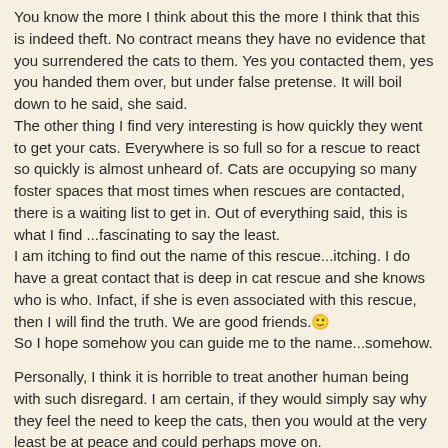You know the more I think about this the more I think that this is indeed theft. No contract means they have no evidence that you surrendered the cats to them. Yes you contacted them, yes you handed them over, but under false pretense. It will boil down to he said, she said.
The other thing I find very interesting is how quickly they went to get your cats. Everywhere is so full so for a rescue to react so quickly is almost unheard of. Cats are occupying so many foster spaces that most times when rescues are contacted, there is a waiting list to get in. Out of everything said, this is what I find ...fascinating to say the least.
I am itching to find out the name of this rescue...itching. I do have a great contact that is deep in cat rescue and she knows who is who. Infact, if she is even associated with this rescue, then I will find the truth. We are good friends. 🙂
So I hope somehow you can guide me to the name...somehow.
Personally, I think it is horrible to treat another human being with such disregard. I am certain, if they would simply say why they feel the need to keep the cats, then you would at the very least be at peace and could perhaps move on.
Another thing I would like to add, please for the sake of your own health, do not over burdeon your mind with this incident. Being a total animal activist, I still think of the human factor. Sorry to say to all my activists collegues...but you need to take care of yourself first and foremost.
I think that your best course of action is to get legal assistance in this matter.